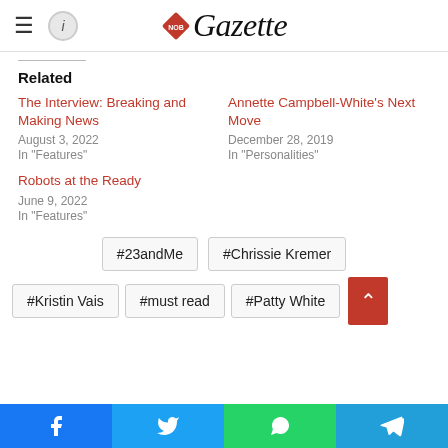Gazette
Related
The Interview: Breaking and Making News
August 3, 2022
In "Features"
Annette Campbell-White's Next Move
December 28, 2019
In "Personalities"
Robots at the Ready
June 9, 2022
In "Features"
#23andMe #Chrissie Kremer #Kristin Vais #must read #Patty White